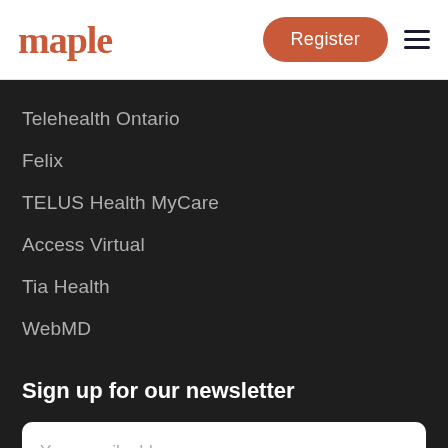maple | Register
Telehealth Ontario
Felix
TELUS Health MyCare
Access Virtual
Tia Health
WebMD
Sign up for our newsletter
Your email address
[Figure (screenshot): Download on the App Store button at the bottom of the page]